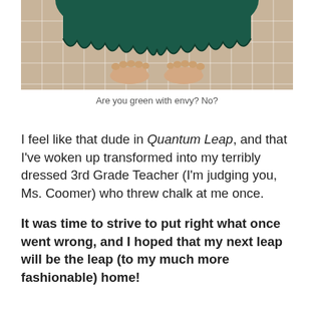[Figure (photo): Bottom half of a person wearing a dark green knitted/crocheted dress, standing barefoot on beige/tan ceramic floor tiles. Only the lower portion of the dress and bare feet are visible.]
Are you green with envy? No?
I feel like that dude in Quantum Leap, and that I've woken up transformed into my terribly dressed 3rd Grade Teacher (I'm judging you, Ms. Coomer) who threw chalk at me once.
It was time to strive to put right what once went wrong, and I hoped that my next leap will be the leap (to my much more fashionable) home!